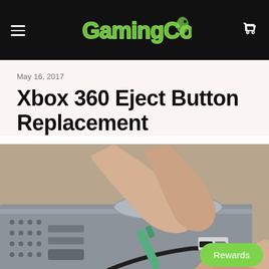GamingCobra [logo] — navigation header with hamburger menu and cart icon
May 16, 2017
Xbox 360 Eject Button Replacement
[Figure (photo): Hands using a green pry tool to remove or replace the eject button on an Xbox 360 console, showing internal components and cables.]